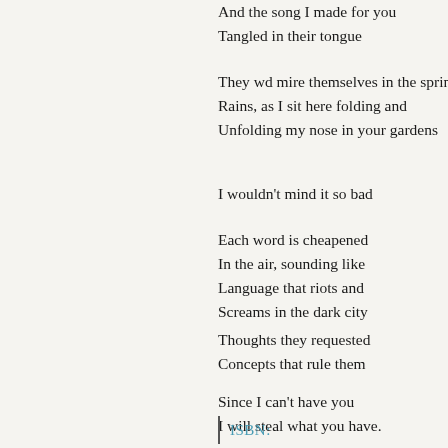And the song I made for you
Tangled in their tongue
They wd mire themselves in the spring
Rains, as I sit here folding and
Unfolding my nose in your gardens
I wouldn't mind it so bad
Each word is cheapened
In the air, sounding like
Language that riots and
Screens in the dark city
Thoughts they requested
Concepts that rule them
Since I can't have you
I will steal what you have.
ISBN: